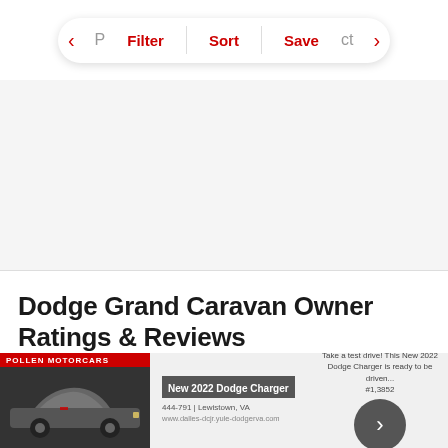< P  Filter  |  Sort  |  Save  ct >
Dodge Grand Caravan Owner Ratings & Reviews
Write a Review >
[Figure (screenshot): Advertisement banner showing a New 2022 Dodge Charger with dealer info and a right arrow navigation button]